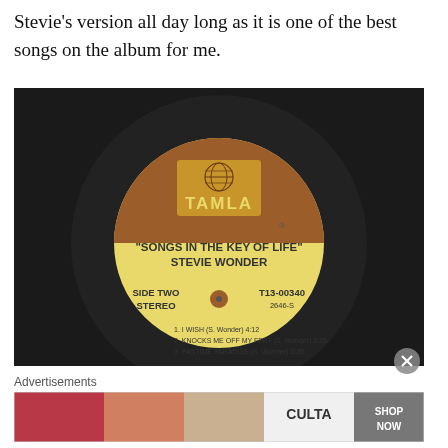Stevie's version all day long as it is one of the best songs on the album for me.
[Figure (photo): Vinyl record with Tamla label showing 'Songs in the Key of Life' by Stevie Wonder, Side Two Stereo, T13-00340, 2646-S. Track listing: 1. I WISH (S. Wonder) 4:12, 2. KNOCKS ME OFF MY FEET (S. Wonder) 3:35, 3. PASTIME PARADISE (S. Wonder) 3:20]
Advertisements